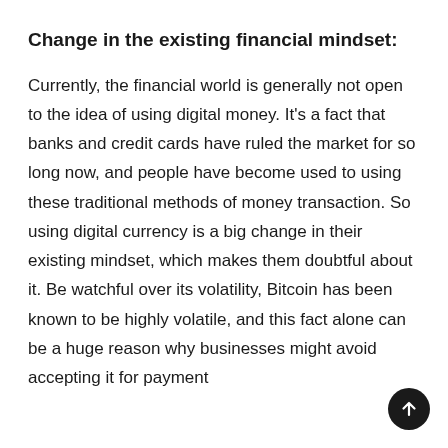Change in the existing financial mindset:
Currently, the financial world is generally not open to the idea of using digital money. It's a fact that banks and credit cards have ruled the market for so long now, and people have become used to using these traditional methods of money transaction. So using digital currency is a big change in their existing mindset, which makes them doubtful about it. Be watchful over its volatility, Bitcoin has been known to be highly volatile, and this fact alone can be a huge reason why businesses might avoid accepting it for payment